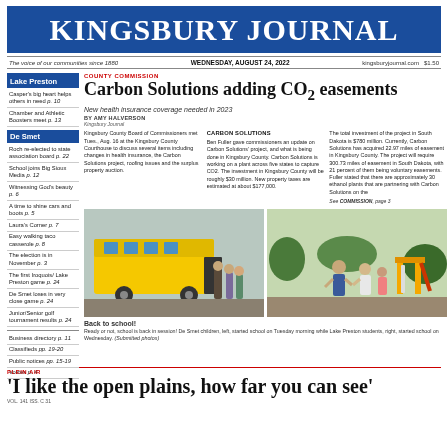KINGSBURY JOURNAL
The voice of our communities since 1880 | WEDNESDAY, AUGUST 24, 2022 | kingsburyjournal.com | $1.50
Lake Preston
Casper's big heart helps others in need p. 10
Chamber and Athletic Boosters meet p. 13
De Smet
Roch re-elected to state association board p. 22
School joins Big Sioux Media p. 12
Witnessing God's beauty p. 6
A time to shine cars and boots p. 5
Laura's Corner p. 7
Easy walking taco casserole p. 8
The election is in November p. 3
The first Iroquois/Lake Preston game p. 24
De Smet loses in very close game p. 24
Junior/Senior golf tournament results p. 24
Business directory p. 11
Classifieds pp. 19-20
Public notices pp. 15-19
Voices p. 4
COUNTY COMMISSION
Carbon Solutions adding CO2 easements
New health insurance coverage needed in 2023
BY AMY HALVERSON
Kingsbury Journal
Kingsbury County Board of Commissioners met Tues., Aug. 16 at the Kingsbury County Courthouse to discuss several items including changes in health insurance, the Carbon Solutions project, roofing issues and the surplus property auction.
CARBON SOLUTIONS
Ben Fuller gave commissioners an update on Carbon Solutions' project, and what is being done in Kingsbury County. Carbon Solutions is working on a plant across five states to capture CO2. The investment in Kingsbury County will be roughly $30 million. New property taxes are estimated at about $177,000.
The total investment of the project in South Dakota is $780 million. Currently, Carbon Solutions has acquired 22.97 miles of easement in Kingsbury County. The project will require 300.73 miles of easement in South Dakota, with 21 percent of them being voluntary easements. Fuller stated that there are approximately 30 ethanol plants that are partnering with Carbon Solutions on the
See COMMISSION, page 3
[Figure (photo): Children exiting a school bus on the first day of school - De Smet students]
[Figure (photo): Lake Preston students running at school on the first day]
Back to school!
Ready or not, school is back in session! De Smet children, left, started school on Tuesday morning while Lake Preston students, right, started school on Wednesday. (Submitted photos)
PLEIN AIR
'I like the open plains, how far you can see'
VOL. 141 ISS. C 31